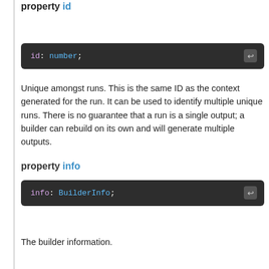property id
[Figure (screenshot): Code block showing: id: number;]
Unique amongst runs. This is the same ID as the context generated for the run. It can be used to identify multiple unique runs. There is no guarantee that a run is a single output; a builder can rebuild on its own and will generate multiple outputs.
property info
[Figure (screenshot): Code block showing: info: BuilderInfo;]
The builder information.